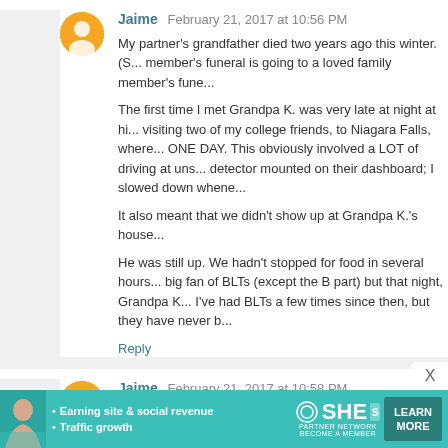Jaime  February 21, 2017 at 10:56 PM
My partner's grandfather died two years ago this winter. (S... member's funeral is going to a loved family member's fune...

The first time I met Grandpa K. was very late at night at hi... visiting two of my college friends, to Niagara Falls, where... ONE DAY. This obviously involved a LOT of driving at uns... detector mounted on their dashboard; I slowed down whene...

It also meant that we didn't show up at Grandpa K.'s house...

He was still up. We hadn't stopped for food in several hours... big fan of BLTs (except the B part) but that night, Grandpa K... I've had BLTs a few times since then, but they have never b...
Reply
Jaime  February 21, 2017 at 10:58 PM
Is angel food cake a grandmother thing? My late patern... whenever she knew I was coming to visit.
Reply
[Figure (infographic): SHE Partner Network advertisement banner with woman photo, bullet points about earning site & social revenue and traffic growth, SHE logo, and LEARN MORE button.]